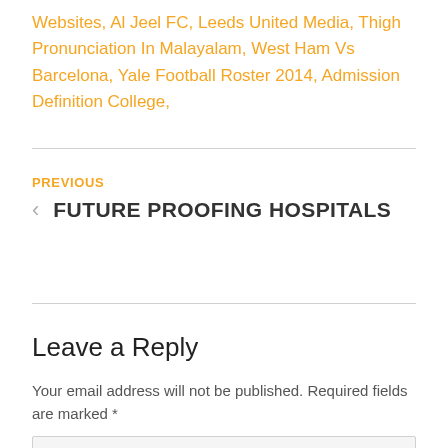Websites, Al Jeel FC, Leeds United Media, Thigh Pronunciation In Malayalam, West Ham Vs Barcelona, Yale Football Roster 2014, Admission Definition College,
PREVIOUS
< FUTURE PROOFING HOSPITALS
Leave a Reply
Your email address will not be published. Required fields are marked *